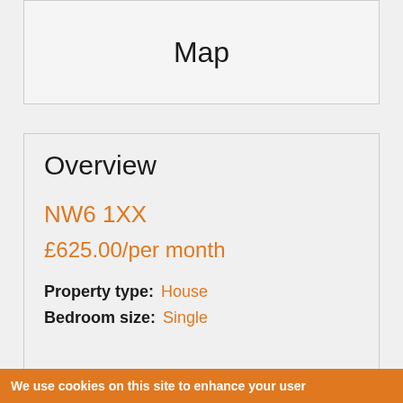[Figure (map): Map placeholder box with centered text 'Map']
Overview
NW6 1XX
£625.00/per month
Property type: House
Bedroom size: Single
We use cookies on this site to enhance your user